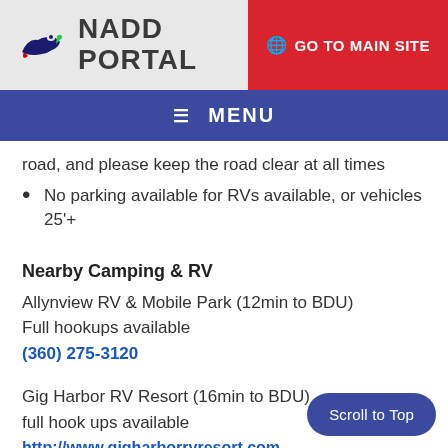NADD PORTAL | GO TO MAIN SITE
MENU
road, and please keep the road clear at all times
No parking available for RVs available, or vehicles 25'+
Nearby Camping & RV
Allynview RV & Mobile Park (12min to BDU)
Full hookups available
(360) 275-3120
Gig Harbor RV Resort (16min to BDU)
full hook ups available
http://www.gigharborrvresort.com